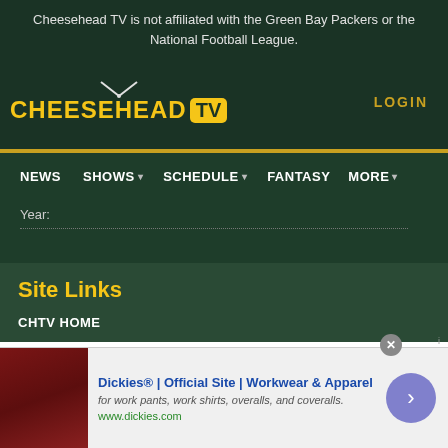Cheesehead TV is not affiliated with the Green Bay Packers or the National Football League.
[Figure (logo): Cheesehead TV logo with yellow text and TV icon, LOGIN link on right]
NEWS  SHOWS  SCHEDULE  FANTASY  MORE
Year:
Site Links
CHTV HOME
[Figure (screenshot): Advertisement banner: Dickies Official Site - Workwear & Apparel. for work pants, work shirts, overalls, and coveralls. www.dickies.com]